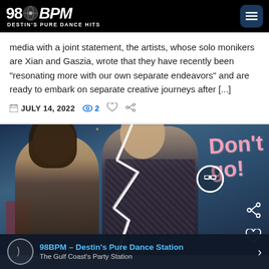98BPM - DESTIN'S PURE DANCE HITS
media with a joint statement, the artists, whose solo monikers are Xian and Gaszia, wrote that they have recently been "resonating more with our own separate endeavors" and are ready to embark on separate creative journeys after [...]
JULY 14, 2022  2
[Figure (photo): Photo of a couple (woman with long dark hair and man in floral shirt) with a lightning bolt crack graphic overlaid, pink handwritten text reading 'Don't go!' on the right side, and social media icons (link, share, heart) overlaid on the image.]
98BPM – Destin's Pure Dance Station
The Gulf Coast's Party Station